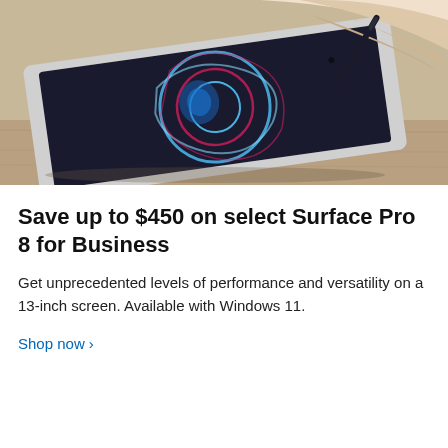[Figure (photo): A person's hand using a stylus pen to draw on a Microsoft Surface Pro tablet placed on a wooden desk surface. The tablet screen shows colorful digital artwork.]
Save up to $450 on select Surface Pro 8 for Business
Get unprecedented levels of performance and versatility on a 13-inch screen. Available with Windows 11.
Shop now >